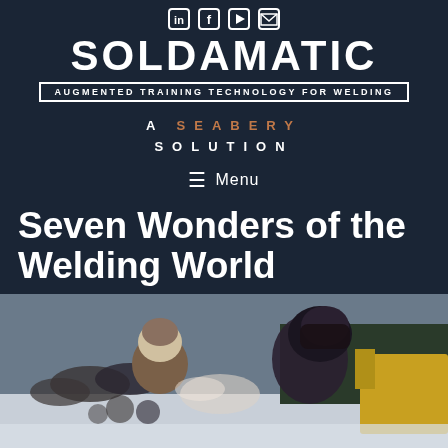Soldamatic — Augmented Training Technology for Welding — A Seabery Solution
Seven Wonders of the Welding World
[Figure (photo): Two welders working outdoors in a snowy environment with pipes and heavy equipment in the background]